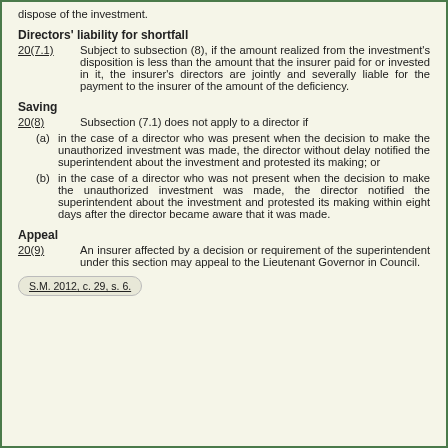dispose of the investment.
Directors' liability for shortfall
20(7.1)   Subject to subsection (8), if the amount realized from the investment's disposition is less than the amount that the insurer paid for or invested in it, the insurer's directors are jointly and severally liable for the payment to the insurer of the amount of the deficiency.
Saving
20(8)   Subsection (7.1) does not apply to a director if
(a) in the case of a director who was present when the decision to make the unauthorized investment was made, the director without delay notified the superintendent about the investment and protested its making; or
(b) in the case of a director who was not present when the decision to make the unauthorized investment was made, the director notified the superintendent about the investment and protested its making within eight days after the director became aware that it was made.
Appeal
20(9)   An insurer affected by a decision or requirement of the superintendent under this section may appeal to the Lieutenant Governor in Council.
S.M. 2012, c. 29, s. 6.